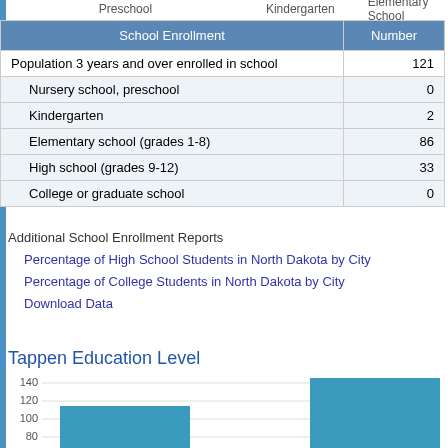Preschool   Kindergarten   Elementary School
| School Enrollment | Number |
| --- | --- |
| Population 3 years and over enrolled in school | 121 |
| Nursery school, preschool | 0 |
| Kindergarten | 2 |
| Elementary school (grades 1-8) | 86 |
| High school (grades 9-12) | 33 |
| College or graduate school | 0 |
Additional School Enrollment Reports
Percentage of High School Students in North Dakota by City
Percentage of College Students in North Dakota by City
Download Data
Tappen Education Level
[Figure (bar-chart): Tappen Education Level]